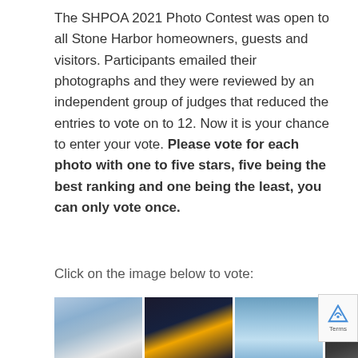The SHPOA 2021 Photo Contest was open to all Stone Harbor homeowners, guests and visitors. Participants emailed their photographs and they were reviewed by an independent group of judges that reduced the entries to vote on to 12. Now it is your chance to enter your vote. Please vote for each photo with one to five stars, five being the best ranking and one being the least, you can only vote once.
Click on the image below to vote:
[Figure (photo): A horizontal strip of 6 thumbnail photographs showing various scenes: beach/ocean, illuminated pier at night, blue ocean/sky, ornate lamppost detail, moon or light on dark background, fireworks against dark sky.]